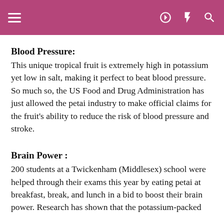≡  ⇒ ⚡ 🔍
Blood Pressure:
This unique tropical fruit is extremely high in potassium yet low in salt, making it perfect to beat blood pressure. So much so, the US Food and Drug Administration has just allowed the petai industry to make official claims for the fruit's ability to reduce the risk of blood pressure and stroke.
Brain Power :
200 students at a Twickenham (Middlesex) school were helped through their exams this year by eating petai at breakfast, break, and lunch in a bid to boost their brain power. Research has shown that the potassium-packed